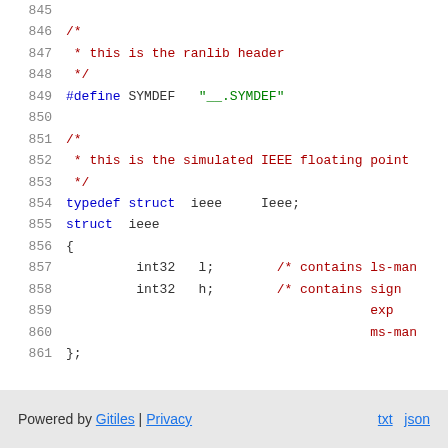Code listing lines 845-861: C source code showing ranlib header definition and IEEE floating point struct
Powered by Gitiles | Privacy    txt  json